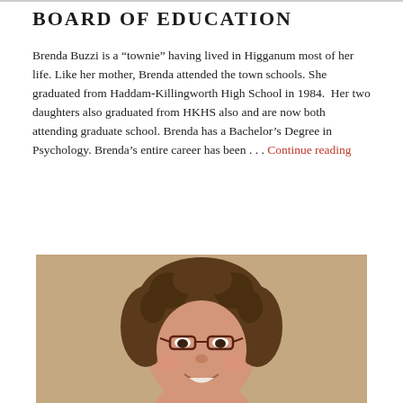BOARD OF EDUCATION
Brenda Buzzi is a “townie” having lived in Higganum most of her life. Like her mother, Brenda attended the town schools. She graduated from Haddam-Killingworth High School in 1984. Her two daughters also graduated from HKHS also and are now both attending graduate school. Brenda has a Bachelor’s Degree in Psychology. Brenda’s entire career has been . . . Continue reading
[Figure (photo): Portrait photograph of a woman with curly brown hair and glasses, smiling]